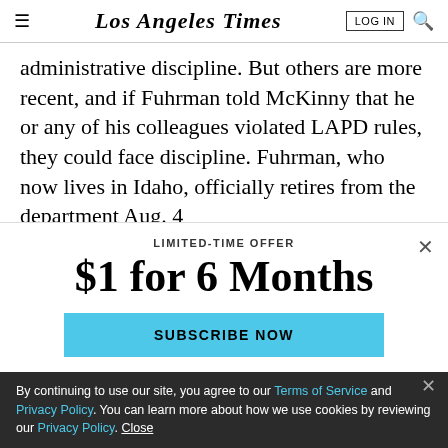Los Angeles Times — LOG IN | Search
administrative discipline. But others are more recent, and if Fuhrman told McKinny that he or any of his colleagues violated LAPD rules, they could face discipline. Fuhrman, who now lives in Idaho, officially retires from the department Aug. 4
LIMITED-TIME OFFER
$1 for 6 Months
SUBSCRIBE NOW
By continuing to use our site, you agree to our Terms of Service and Privacy Policy. You can learn more about how we use cookies by reviewing our Privacy Policy. Close